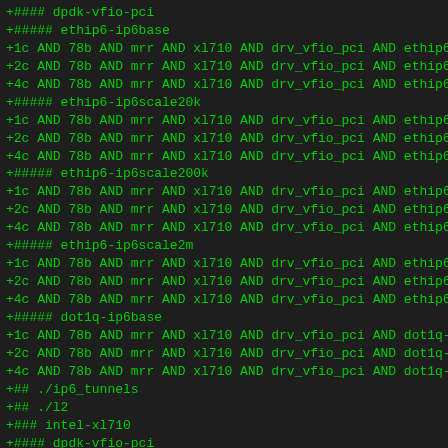+#### dpdk-vfio-pci
+##### ethip6-ip6base
+1c AND 78b AND mrr AND xl710 AND drv_vfio_pci AND ethip6-ip
+2c AND 78b AND mrr AND xl710 AND drv_vfio_pci AND ethip6-ip
+4c AND 78b AND mrr AND xl710 AND drv_vfio_pci AND ethip6-ip
+##### ethip6-ip6scale20k
+1c AND 78b AND mrr AND xl710 AND drv_vfio_pci AND ethip6-ip
+2c AND 78b AND mrr AND xl710 AND drv_vfio_pci AND ethip6-ip
+4c AND 78b AND mrr AND xl710 AND drv_vfio_pci AND ethip6-ip
+##### ethip6-ip6scale200k
+1c AND 78b AND mrr AND xl710 AND drv_vfio_pci AND ethip6-ip
+2c AND 78b AND mrr AND xl710 AND drv_vfio_pci AND ethip6-ip
+4c AND 78b AND mrr AND xl710 AND drv_vfio_pci AND ethip6-ip
+##### ethip6-ip6scale2m
+1c AND 78b AND mrr AND xl710 AND drv_vfio_pci AND ethip6-ip
+2c AND 78b AND mrr AND xl710 AND drv_vfio_pci AND ethip6-ip
+4c AND 78b AND mrr AND xl710 AND drv_vfio_pci AND ethip6-ip
+##### dot1q-ip6base
+1c AND 78b AND mrr AND xl710 AND drv_vfio_pci AND dot1q-ip6
+2c AND 78b AND mrr AND xl710 AND drv_vfio_pci AND dot1q-ip6
+4c AND 78b AND mrr AND xl710 AND drv_vfio_pci AND dot1q-ip6
+## ./ip6_tunnels
+## ./l2
+### intel-xl710
+#### dpdk-vfio-pci
+##### eth-l2bdbasemaclrn
+1c AND 64b AND mrr AND xl710 AND drv_vfio_pci AND eth-l2bdb
+2c AND 64b AND mrr AND xl710 AND drv_vfio_pci AND eth-l2bdb
+4c AND 64b AND mrr AND xl710 AND drv_vfio_pci AND eth-l2bdb
+##### eth-l2bdscale10kmaclrn
+1c AND 64b AND mrr AND xl710 AND drv_vfio_pci AND eth-l2bds
+2c AND 64b AND mrr AND xl710 AND drv_vfio_pci AND eth-l2bd